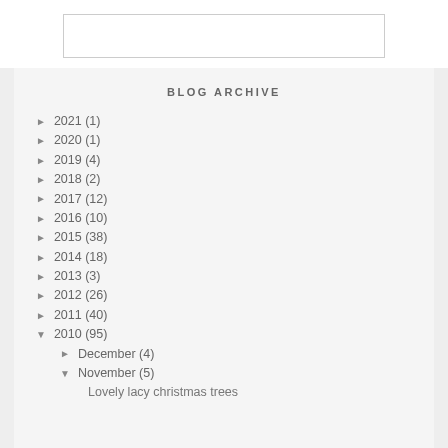[Figure (other): Top portion of page showing a white box with border outline, partial view of a content area above the blog archive section]
BLOG ARCHIVE
► 2021 (1)
► 2020 (1)
► 2019 (4)
► 2018 (2)
► 2017 (12)
► 2016 (10)
► 2015 (38)
► 2014 (18)
► 2013 (3)
► 2012 (26)
► 2011 (40)
▼ 2010 (95)
► December (4)
▼ November (5)
Lovely lacy christmas trees